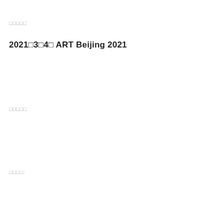□□□□□
2021□3□4□ ART Beijing 2021
□□□□□
□□□□: